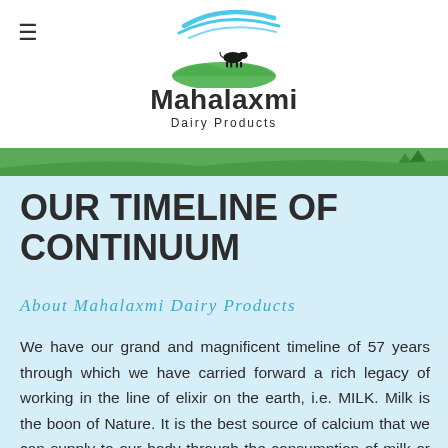≡  Mahalaxmi Dairy Products
[Figure (logo): Mahalaxmi Dairy Products logo with blue swoosh/wave lines at top, green hill with black cow silhouette, bold text 'Mahalaxmi' and subtitle 'Dairy Products']
[Figure (illustration): Green landscape banner strip with trees at right side]
OUR TIMELINE OF CONTINUUM
About Mahalaxmi Dairy Products
We have our grand and magnificent timeline of 57 years through which we have carried forward a rich legacy of working in the line of elixir on the earth, i.e. MILK. Milk is the boon of Nature. It is the best source of calcium that we can supply to our body through the consumption of milk or any milk products. As per the rule of Nature a valuable thing